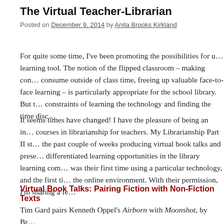The Virtual Teacher-Librarian
Posted on December 9, 2014 by Anita Brooks Kirkland
For quite some time, I've been promoting the possibilities for us… learning tool. The notion of the flipped classroom – making con… consume outside of class time, freeing up valuable face-to-face learning – is particularly appropriate for the school library. But constraints of learning the technology and finding the time disco…
It seems times have changed! I have the pleasure of being an ins… courses in librarianship for teachers. My Librarianship Part II st… the past couple of weeks producing virtual book talks and prese… differentiated learning opportunities in the library learning comm… was their first time using a particular technology, and the first ti… the online environment. With their permission, I'm sharing a fe…
Virtual Book Talks: Pairing Fiction with Non-Fiction Texts
Tim Gard pairs Kenneth Oppel's Airborn with Moonshot, by Br…